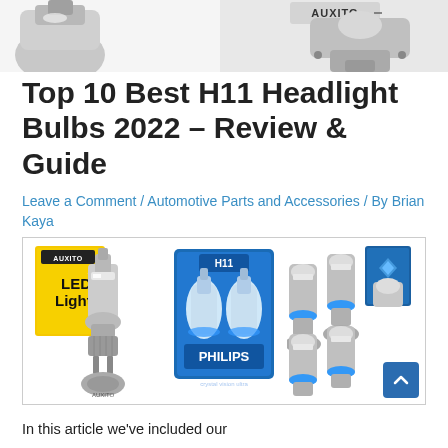[Figure (photo): Partial top image of H11 headlight bulbs against white background, showing silver LED bulb hardware and an AUXITO branded unit on the right]
Top 10 Best H11 Headlight Bulbs 2022 – Review & Guide
Leave a Comment / Automotive Parts and Accessories / By Brian Kaya
[Figure (photo): Composite product image showing three groups of H11 headlight bulbs: left - AUXITO LED Light bulb with yellow packaging, center - Philips H11 bulbs in blue blister packaging, right - four silver LED bulbs with blue rings and blue product boxes]
In this article we've included our